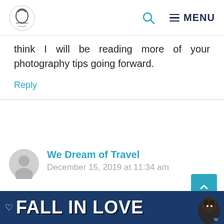We Dream of Travel [logo] [search icon] ≡ MENU
think I will be reading more of your photography tips going forward.
Reply
We Dream of Travel
December 15, 2019 at 11:34 am
Thank you so much! We will definitely have some more photography blogs
[Figure (other): Fall In Love advertisement banner with dog image]